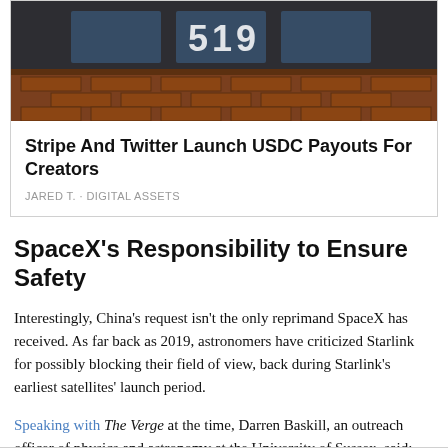[Figure (photo): Exterior of a building with brick facade and glass panels, showing numbers on window]
Stripe And Twitter Launch USDC Payouts For Creators
JARED T. · DIGITAL ASSETS
SpaceX's Responsibility to Ensure Safety
Interestingly, China's request isn't the only reprimand SpaceX has received. As far back as 2019, astronomers have criticized Starlink for possibly blocking their field of view, back during Starlink's earliest satellites' launch period.
Speaking with The Verge at the time, Darren Baskill, an outreach officer of physics and astronomy at the University of Sussex, said: